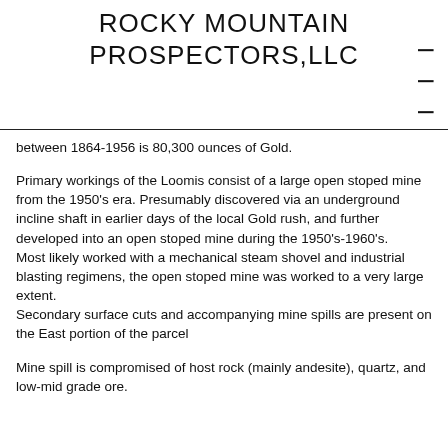ROCKY MOUNTAIN PROSPECTORS,LLC
between 1864-1956 is 80,300 ounces of Gold.
Primary workings of the Loomis consist of a large open stoped mine from the 1950's era. Presumably discovered via an underground incline shaft in earlier days of the local Gold rush, and further developed into an open stoped mine during the 1950's-1960's.
Most likely worked with a mechanical steam shovel and industrial blasting regimens, the open stoped mine was worked to a very large extent.
Secondary surface cuts and accompanying mine spills are present on the East portion of the parcel
Mine spill is compromised of host rock (mainly andesite), quartz, and low-mid grade ore.